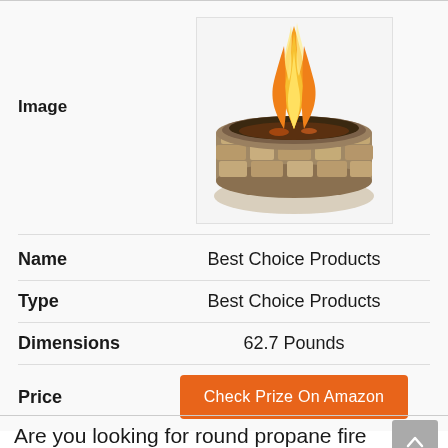| Field | Value |
| --- | --- |
| Image | [fire pit product image] |
| Name | Best Choice Products |
| Type | Best Choice Products |
| Dimensions | 62.7 Pounds |
| Price | Check Prize On Amazon |
Are you looking for round propane fire pits? Are you searching for something that will help you...